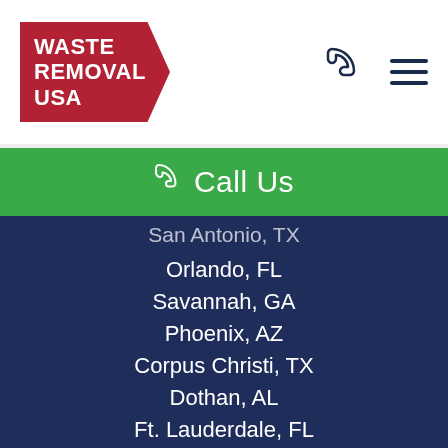WASTE REMOVAL USA
Call Us
San Antonio, TX
Orlando, FL
Savannah, GA
Phoenix, AZ
Corpus Christi, TX
Dothan, AL
Ft. Lauderdale, FL
Chicago, IL
Columbia, SC
Kansas City, MO
St. Louis, MO
Durham, NC
Tulsa, OK